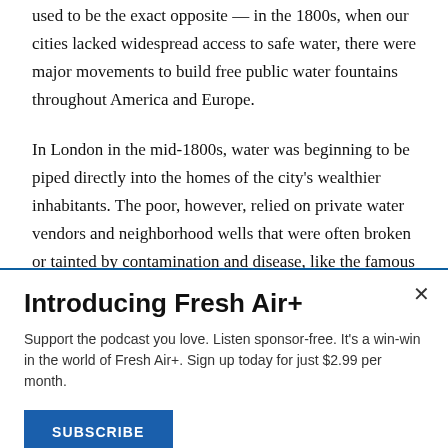used to be the exact opposite — in the 1800s, when our cities lacked widespread access to safe water, there were major movements to build free public water fountains throughout America and Europe.
In London in the mid-1800s, water was beginning to be piped directly into the homes of the city's wealthier inhabitants. The poor, however, relied on private water vendors and neighborhood wells that were often broken or tainted by contamination and disease, like the famous Broad
Introducing Fresh Air+
Support the podcast you love. Listen sponsor-free. It's a win-win in the world of Fresh Air+. Sign up today for just $2.99 per month.
SUBSCRIBE